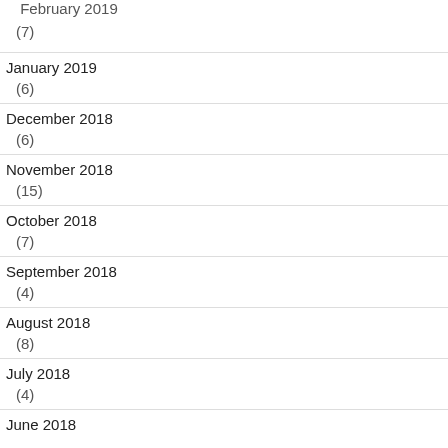February 2019
(7)
January 2019
(6)
December 2018
(6)
November 2018
(15)
October 2018
(7)
September 2018
(4)
August 2018
(8)
July 2018
(4)
June 2018